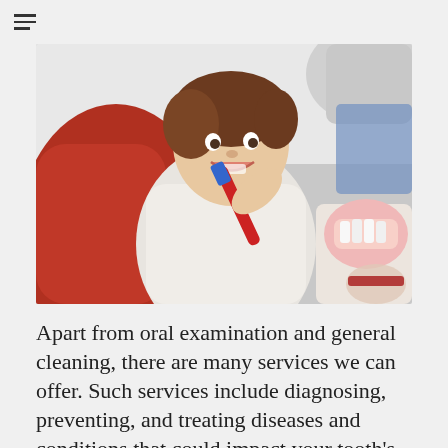[Figure (photo): A young toddler boy sitting in a red dental chair, smiling and holding a red and blue toothbrush, while a dental professional (partially visible) holds a dental model toward the child.]
Apart from oral examination and general cleaning, there are many services we can offer. Such services include diagnosing, preventing, and treating diseases and conditions that could impact your tooth's supporting structures. When you come to our offices, you will enjoy a wide range of